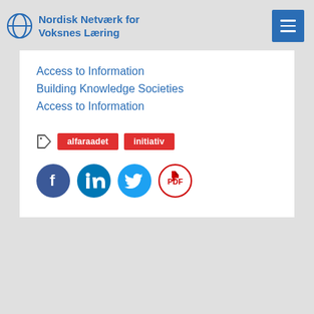Nordisk Netværk for Voksnes Læring
Access to Information
Building Knowledge Societies
Access to Information
alfaraadet   initiativ
[Figure (other): Social share icons: Facebook, LinkedIn, Twitter, PDF]